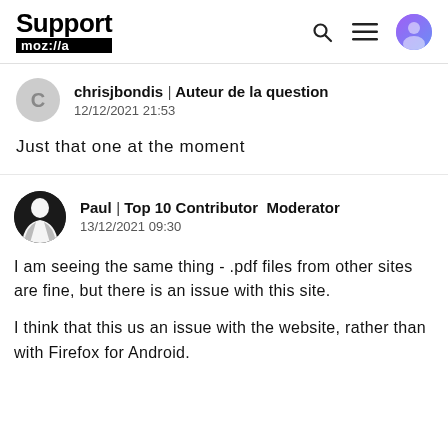Support mozilla// [search] [menu] [avatar]
chrisjbondis | Auteur de la question
12/12/2021 21:53
Just that one at the moment
Paul | Top 10 Contributor  Moderator
13/12/2021 09:30
I am seeing the same thing - .pdf files from other sites are fine, but there is an issue with this site.
I think that this us an issue with the website, rather than with Firefox for Android.